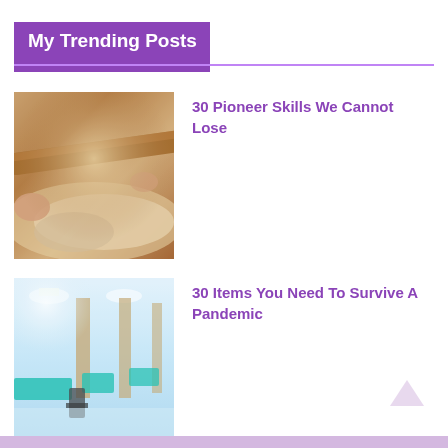My Trending Posts
[Figure (photo): Person rolling dough with a rolling pin on a floured wooden surface]
30 Pioneer Skills We Cannot Lose
[Figure (photo): Hospital or clinic room with teal/turquoise-covered beds and chairs, bright lighting]
30 Items You Need To Survive A Pandemic